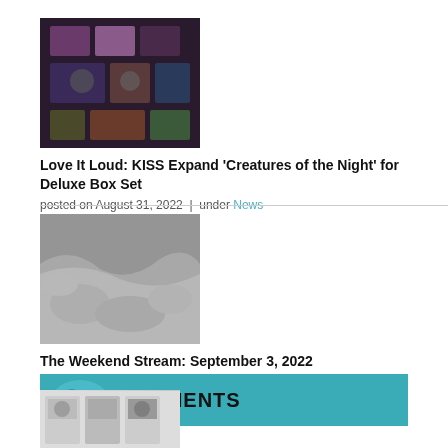[Figure (photo): Thumbnail image of KISS 'Creatures of the Night' deluxe box set contents spread out]
Love It Loud: KISS Expand 'Creatures of the Night' for Deluxe Box Set
posted on August 31, 2022  |  under News
[Figure (photo): Thumbnail image of a rocky stream with rushing water, sepia-toned]
The Weekend Stream: September 3, 2022
posted on September 3, 2022  |  under The Weekend Stream
COMMENTS
[Figure (photo): Partial thumbnail of album covers or music items at bottom of page]